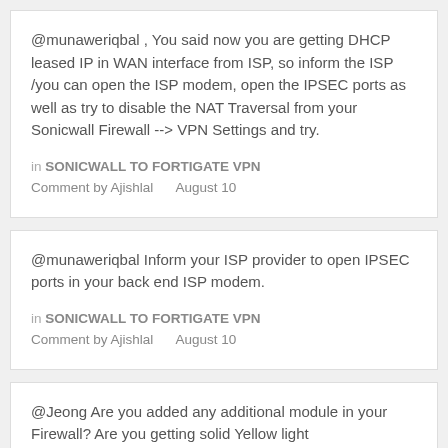@munaweriqbal , You said now you are getting DHCP leased IP in WAN interface from ISP, so inform the ISP /you can open the ISP modem, open the IPSEC ports as well as try to disable the NAT Traversal from your Sonicwall Firewall --> VPN Settings and try.
in SONICWALL TO FORTIGATE VPN Comment by Ajishlal   August 10
@munaweriqbal Inform your ISP provider to open IPSEC ports in your back end ISP modem.
in SONICWALL TO FORTIGATE VPN Comment by Ajishlal   August 10
@Jeong Are you added any additional module in your Firewall? Are you getting solid Yellow light